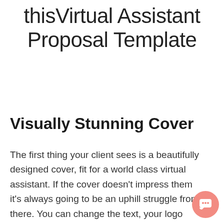thisVirtual Assistant Proposal Template
Visually Stunning Cover
The first thing your client sees is a beautifully designed cover, fit for a world class virtual assistant. If the cover doesn't impress them it's always going to be an uphill struggle from there. You can change the text, your logo and the background